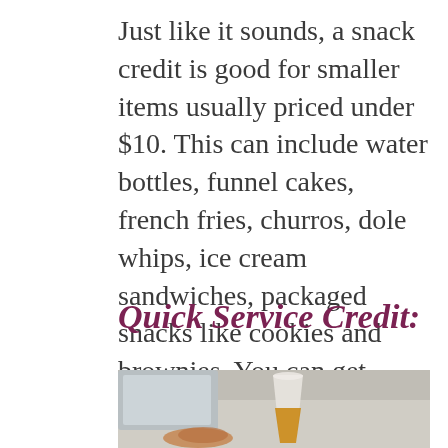Just like it sounds, a snack credit is good for smaller items usually priced under $10. This can include water bottles, funnel cakes, french fries, churros, dole whips, ice cream sandwiches, packaged snacks like cookies and brownies. You can get these anywhere on Disney property including parks and resorts.
Quick Service Credit:
[Figure (photo): Photo of quick service food and drink items on a counter, including a drink cup with two-tone liquid]